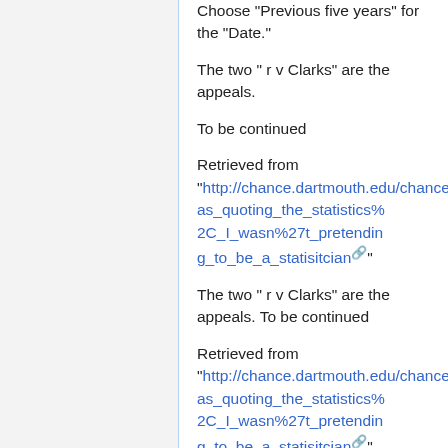Choose "Previous five years" for the "Date."
The two " r v Clarks" are the appeals.
To be continued
Retrieved from "http://chance.dartmouth.edu/chancewiki/index.php/I_was_quoting_the_statistics%2C_I_wasn%27t_pretending_to_be_a_statisitcian"
The two " r v Clarks" are the appeals. To be continued
Retrieved from "http://chance.dartmouth.edu/chancewiki/index.php/I_was_quoting_the_statistics%2C_I_wasn%27t_pretending_to_be_a_statisitcian"